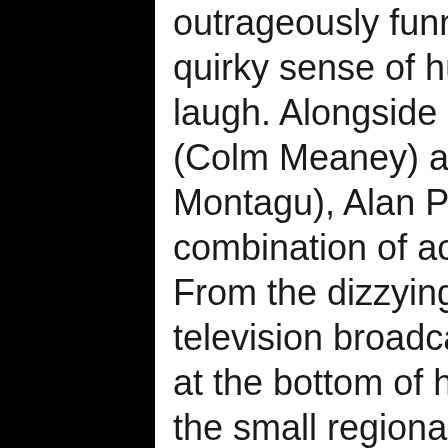outrageously funny, with Partridge's quick wit and quirky sense of humour guaranteed to make you laugh. Alongside his fellow colleagues Pat Farrell (Colm Meaney) and Lynn Benfield (Felicity Montagu), Alan Partridge: Alpha Papa delivers a combination of action and middle-aged goofiness. From the dizzying heights of success as a national television broadcaster, Partridge now finds himself at the bottom of his roller coaster career, as a DJ at the small regional broadcast station, North Norfolk Digital Radio. Partridge, now middle-aged and divorced, and with his job under threat from a takeover by a bean-counting conglomerate, transforms himself into a hostage negotiator after his colleague Pat revolts against his redundancy.

What starts as an unassuming mid-life crisis then transforms into a hilarious and exciting